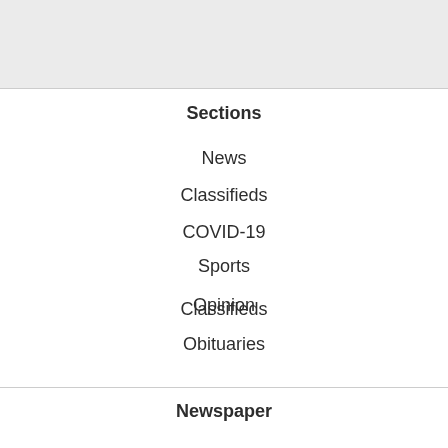[Figure (other): Gray header banner area]
Sections
News
COVID-19
Sports
Opinion
Obituaries
Classifieds
Legals
Archives
Newspaper